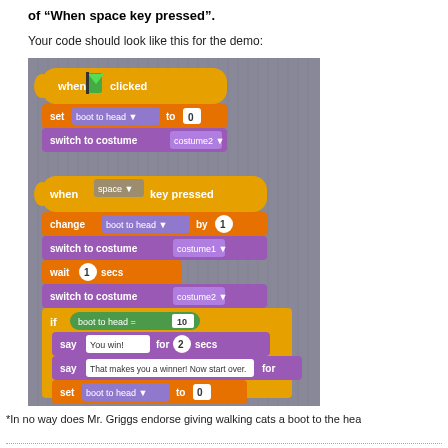of “When space key pressed”.
Your code should look like this for the demo:
[Figure (screenshot): Screenshot of Scratch programming blocks showing two scripts: 1) When green flag clicked: set boot to head to 0, switch to costume costume2. 2) When space key pressed: change boot to head by 1, switch to costume costume1, wait 1 secs, switch to costume costume2, if boot to head = 10: say You win! for 2 secs, say That makes you a winner! Now start over. for [secs], set boot to head to 0.]
*In no way does Mr. Griggs endorse giving walking cats a boot to the hea